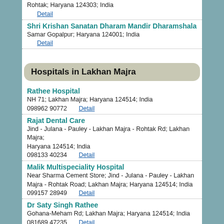Rohtak; Haryana 124303; India
Detail
Shri Krishan Sanatan Dharam Mandir Dharamshala
Samar Gopalpur; Haryana 124001; India
Detail
Hospitals in Lakhan Majra
Rathee Hospital
NH 71; Lakhan Majra; Haryana 124514; India
098962 90772    Detail
Rajat Dental Care
Jind - Julana - Pauley - Lakhan Majra - Rohtak Rd; Lakhan Majra; Haryana 124514; India
098133 40234    Detail
Malik Multispeciality Hospital
Near Sharma Cement Store; Jind - Julana - Pauley - Lakhan Majra - Rohtak Road; Lakhan Majra; Haryana 124514; India
099157 28949    Detail
Dr Saty Singh Rathee
Gohana-Meham Rd; Lakhan Majra; Haryana 124514; India
081689 47235    Detail